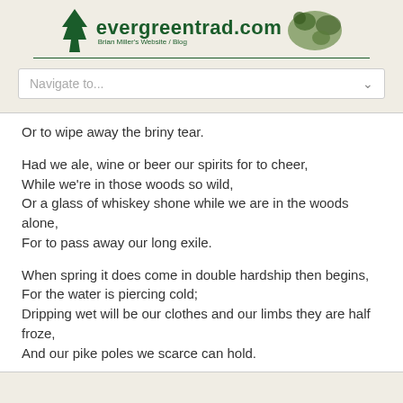evergreentrad.com — Brian Miller's Website / Blog
Navigate to...
Or to wipe away the briny tear.

Had we ale, wine or beer our spirits for to cheer,
While we're in those woods so wild,
Or a glass of whiskey shone while we are in the woods alone,
For to pass away our long exile.

When spring it does come in double hardship then begins,
For the water is piercing cold;
Dripping wet will be our clothes and our limbs they are half froze,
And our pike poles we scarce can hold.